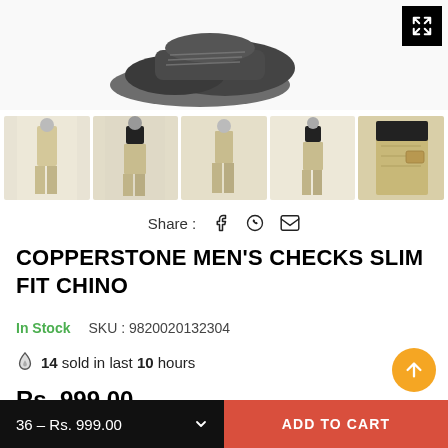[Figure (photo): Main product image area showing top of shoes/pants on white background with expand/fullscreen button in top right corner]
[Figure (photo): Row of 5 thumbnail images showing men's chino pants in various poses and angles, beige/khaki colored]
Share :
COPPERSTONE MEN'S CHECKS SLIM FIT CHINO
In Stock   SKU : 9820020132304
14 sold in last 10 hours
Rs. 999.00
Tax included.
36 – Rs. 999.00
ADD TO CART